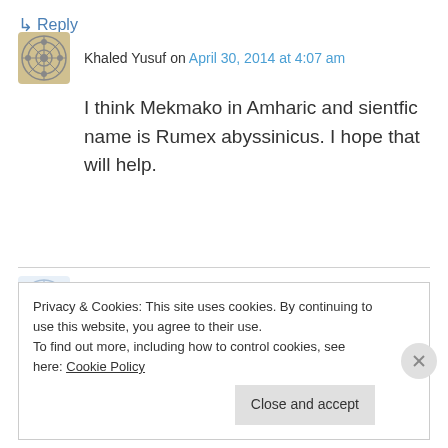Khaled Yusuf on April 30, 2014 at 4:07 am
I think Mekmako in Amharic and sientfic name is Rumex abyssinicus. I hope that will help.
↳ Reply
fasil on April 4, 2014 at 6:59 am
lissie,the root of Embuay with salt is best for healing wound.
Privacy & Cookies: This site uses cookies. By continuing to use this website, you agree to their use.
To find out more, including how to control cookies, see here: Cookie Policy
Close and accept